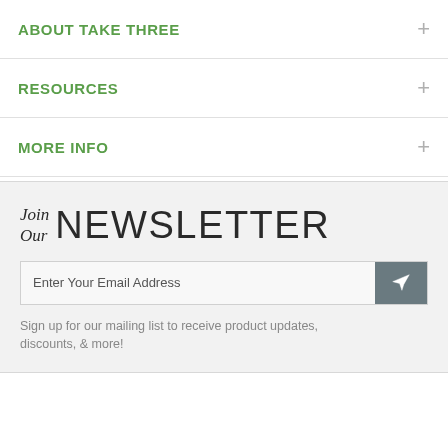ABOUT TAKE THREE
RESOURCES
MORE INFO
[Figure (other): Newsletter signup widget with heading 'Join Our NEWSLETTER', email input field, send button, and caption text]
Enter Your Email Address
Sign up for our mailing list to receive product updates, discounts, & more!